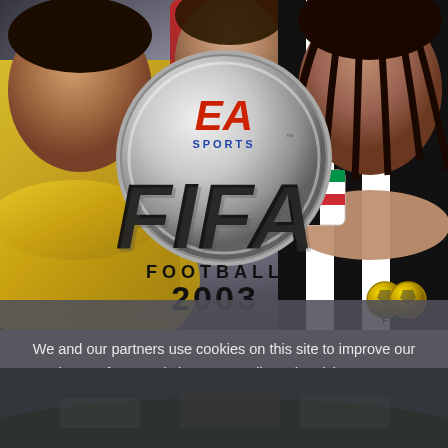[Figure (illustration): FIFA Football 2003 video game box cover art featuring three football players (in yellow, red, and black/white stripe jerseys) with the EA Sports logo and FIFA Football 2003 title in center, plus FIFA ball logo at bottom right]
We and our partners use cookies on this site to improve our service, perform analytics, personalize advertising, measure advertising performance, and remember website preferences.